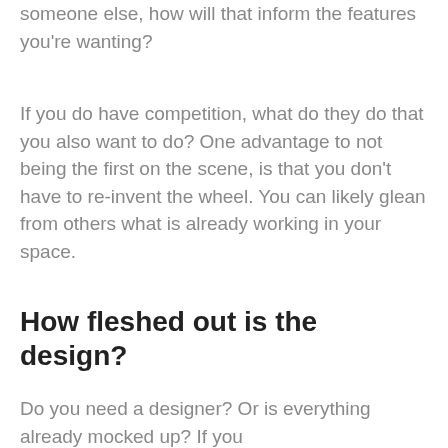someone else, how will that inform the features you're wanting?
If you do have competition, what do they do that you also want to do? One advantage to not being the first on the scene, is that you don't have to re-invent the wheel. You can likely glean from others what is already working in your space.
How fleshed out is the design?
Do you need a designer? Or is everything already mocked up? If you